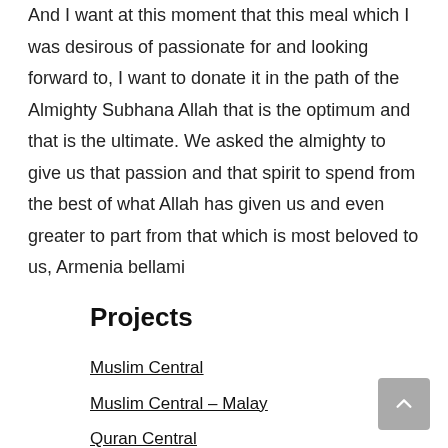And I want at this moment that this meal which I was desirous of passionate for and looking forward to, I want to donate it in the path of the Almighty Subhana Allah that is the optimum and that is the ultimate. We asked the almighty to give us that passion and that spirit to spend from the best of what Allah has given us and even greater to part from that which is most beloved to us, Armenia bellami
Projects
Muslim Central
Muslim Central – Malay
Quran Central